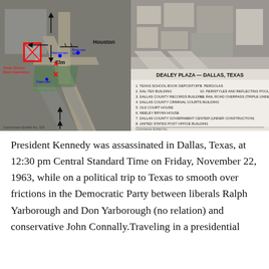[Figure (map): Left: Annotated aerial photograph of Dealey Plaza in Dallas, Texas, showing streets (Elm, Houston), the Texas School Book Depository marked with a red rectangle, assassination shot locations marked with red X marks, Zapruder film location, Matchman and Brennan witness positions marked in blue, and motorcade route arrows. Commission Exhibit No. 323 label at bottom.]
[Figure (photo): Right: Black and white aerial photograph of Dealey Plaza, Dallas, Texas with numbered legend listing 11 buildings and features: 1. Texas School Book Depository, 2. Dal-Tex Building, 3. Dallas County Records Building, 4. Dallas County Criminal Courts Building, 5. Old Court House, 6. Neeley Bryan House, 7. Dallas County Government Center (under construction), 8. United States Post Office Building, 9. Pergolas, 10. Peristyles and Reflecting Pools, 11. Rail Road Overpass (Triple Underpass). Commission Exhibit No. label at bottom.]
President Kennedy was assassinated in Dallas, Texas, at 12:30 pm Central Standard Time on Friday, November 22, 1963, while on a political trip to Texas to smooth over frictions in the Democratic Party between liberals Ralph Yarborough and Don Yarborough (no relation) and conservative John Connally.Traveling in a presidential